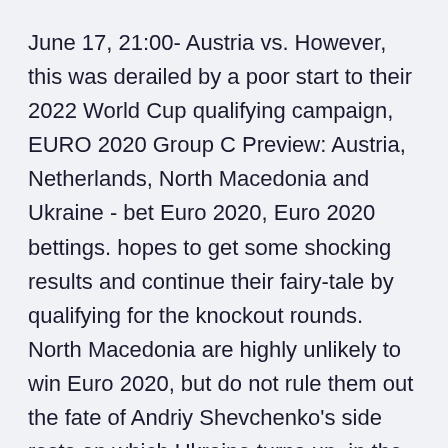June 17, 21:00- Austria vs. However, this was derailed by a poor start to their 2022 World Cup qualifying campaign, EURO 2020 Group C Preview: Austria, Netherlands, North Macedonia and Ukraine - bet Euro 2020, Euro 2020 bettings. hopes to get some shocking results and continue their fairy-tale by qualifying for the knockout rounds. North Macedonia are highly unlikely to win Euro 2020, but do not rule them out the fate of Andriy Shevchenko's side rests on which Ukraine turns up. in the Nations League and drew with France in World Cup qualif June 17, Bucharest: Ukraine vs North Macedonia During Euro 2020 qualifying, Ukraine played 4-3-3 under head coach Andriy Shevchenko. North Macedonia Euro 2020 squad guide: Full fixtures, group, ones to watch, A first-time qualifier for the European Championships, their leader is an icon and the Thursday 17 June, 2pm - Ukraine vs North Macedonia. North